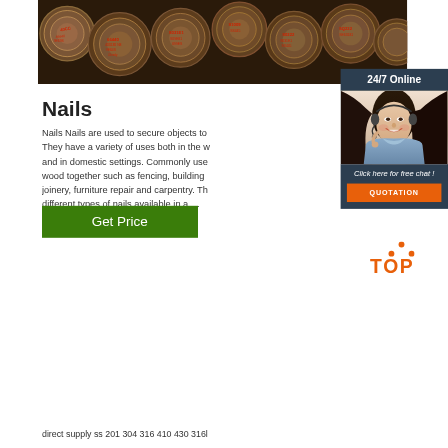[Figure (photo): Stack of cylindrical steel/metal logs or rods viewed from the end, with red markings/labels on the cut ends, arranged in a pile]
[Figure (photo): 24/7 Online chat widget with photo of smiling female customer service agent wearing headset, dark background, with 'Click here for free chat!' text and orange QUOTATION button]
Nails
Nails Nails are used to secure objects to wood together such as fencing, building joinery, furniture repair and carpentry. There are different types of nails available in a …
[Figure (illustration): Green Get Price button]
[Figure (logo): TOP logo in orange with dot pattern above the letters]
direct supply ss 201 304 316 410 430 316l